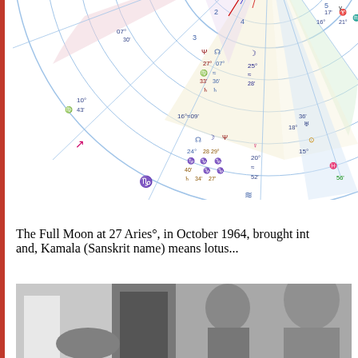[Figure (other): Astrological natal chart (wheel) showing planetary positions. Visible portion shows the lower half of the chart wheel with degrees, zodiac symbols, and planetary glyphs. Notable positions include: 07°30' (upper left area), 10°43' Virgo, 16°≈09' (Aquarius cusp), 27°/07° Virgo/Aquarius with Psi and node symbols, 25°≈28' (Aquarius), 24°/28°29° Capricorn positions, 20°≈52', 15° with Sun symbol, 17° Aries/21° with Scorpio, 16° mark, 18° with Uranus, 56' Pisces marker. Various colored symbols: red/magenta arrows, blue/dark blue planetary glyphs, green Pisces symbol, brown Capricorn symbols.]
The Full Moon at 27 Aries°, in October 1964, brought int and, Kamala (Sanskrit name) means lotus...
[Figure (photo): Black and white photograph showing at least two people. A child and an adult male (partially visible on right side) are in the foreground. The image is cropped at the bottom of the page.]